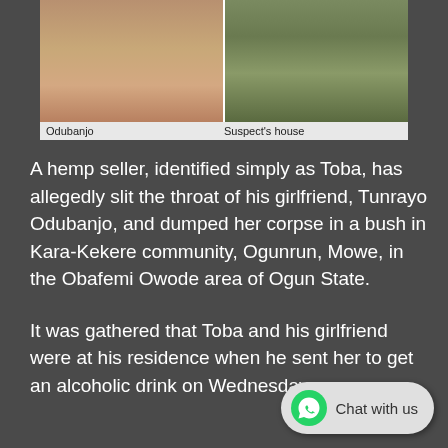[Figure (photo): Two photos side by side: left shows a person (Odubanjo), right shows a grassy area labeled Suspect's house]
Odubanjo    Suspect's house
A hemp seller, identified simply as Toba, has allegedly slit the throat of his girlfriend, Tunrayo Odubanjo, and dumped her corpse in a bush in Kara-Kekere community, Ogunrun, Mowe, in the Obafemi Owode area of Ogun State.
It was gathered that Toba and his girlfriend were at his residence when he sent her to get an alcoholic drink on Wednesday.